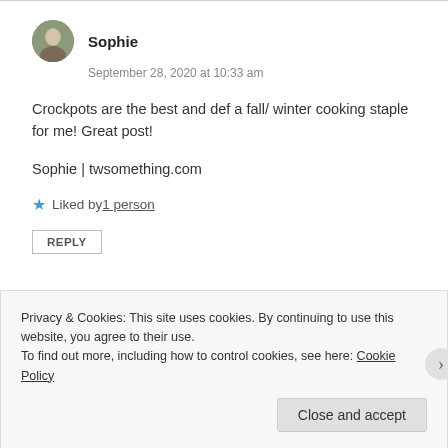Sophie
September 28, 2020 at 10:33 am
Crockpots are the best and def a fall/ winter cooking staple for me! Great post!
Sophie | twsomething.com
★ Liked by 1 person
REPLY
Privacy & Cookies: This site uses cookies. By continuing to use this website, you agree to their use.
To find out more, including how to control cookies, see here: Cookie Policy
Close and accept